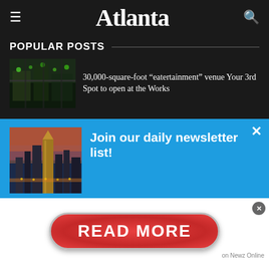Atlanta
POPULAR POSTS
30,000-square-foot “eatertainment” venue Your 3rd Spot to open at the Works
Join our daily newsletter list!
Start your morning with us. The Daily Brief delivers Atlanta’s top stories and latest news straight to…
[Figure (screenshot): READ MORE ad banner button in red pill shape with Newz Online attribution]